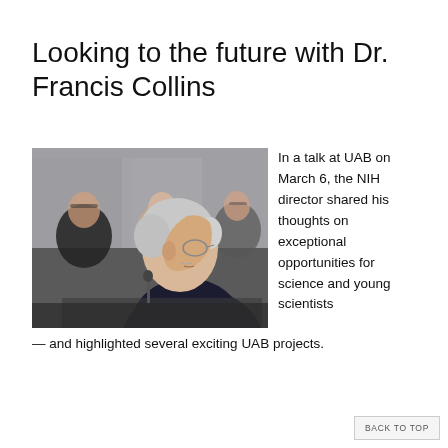Looking to the future with Dr. Francis Collins
[Figure (photo): Dr. Francis Collins speaking in profile at a UAB event, with several seated audience members visible in the background including a woman with glasses and a woman in a beige top.]
In a talk at UAB on March 6, the NIH director shared his thoughts on exceptional opportunities for science and young scientists — and highlighted several exciting UAB projects.